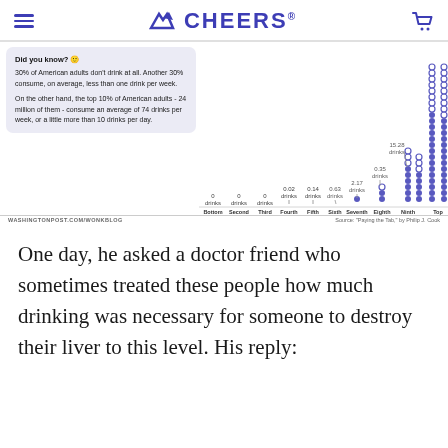CHEERS
[Figure (infographic): Dot plot showing average weekly alcohol drinks consumed by each decile of American adults. Bottom three deciles: 0 drinks. Fourth: 0.02, Fifth: 0.14, Sixth: 0.63, Seventh: 2.17, Eighth: 0.35 (annotation reads 0.35), Ninth: 15.28 drinks, Top: very high. Accompanied by a 'Did you know?' callout box.]
One day, he asked a doctor friend who sometimes treated these people how much drinking was necessary for someone to destroy their liver to this level. His reply: